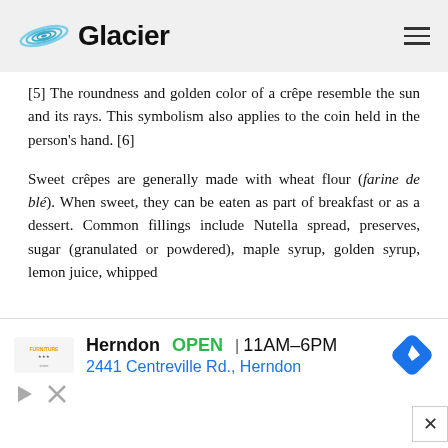Glacier
[5] The roundness and golden color of a crêpe resemble the sun and its rays. This symbolism also applies to the coin held in the person's hand. [6]
Sweet crêpes are generally made with wheat flour (farine de blé). When sweet, they can be eaten as part of breakfast or as a dessert. Common fillings include Nutella spread, preserves, sugar (granulated or powdered), maple syrup, golden syrup, lemon juice, whipped
[Figure (infographic): Advertisement banner for Furniture store in Herndon, showing store name, OPEN status, hours 11AM-6PM, address 2441 Centreville Rd. Herndon, navigation icon, and ad controls.]